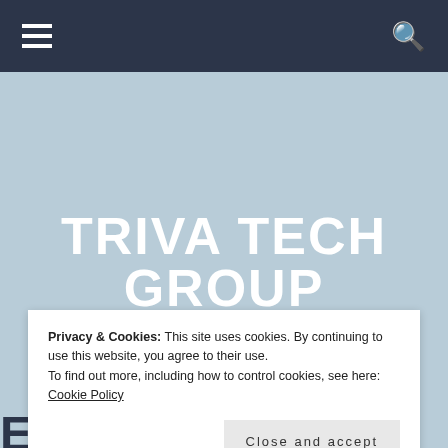Navigation bar with hamburger menu and search icon
TRIVA TECH GROUP
517.657.4020
PROVIDING NETWORK SECURITY, VOIP, CLOUD SERVICES, CONNECTIVITY AND MARKETING SUPPORT FOR BUSINESS
Privacy & Cookies: This site uses cookies. By continuing to use this website, you agree to their use.
To find out more, including how to control cookies, see here: Cookie Policy
Close and accept
EXPENSIVE